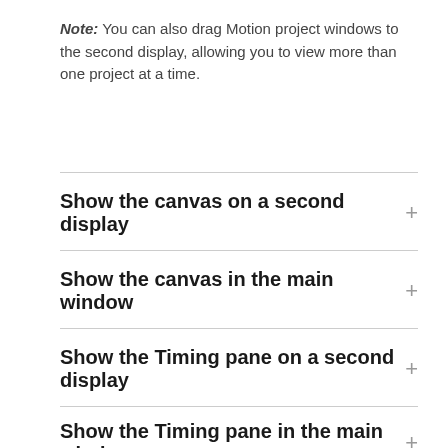Note: You can also drag Motion project windows to the second display, allowing you to view more than one project at a time.
Show the canvas on a second display
Show the canvas in the main window
Show the Timing pane on a second display
Show the Timing pane in the main window